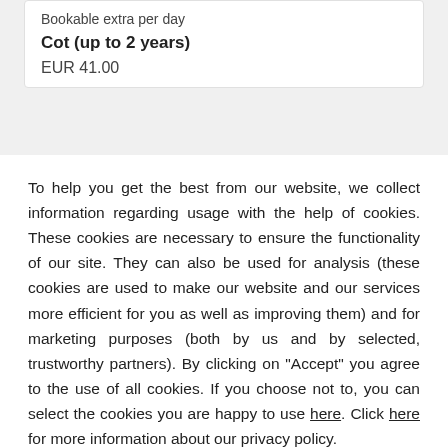Bookable extra per day
Cot (up to 2 years)
EUR 41.00
To help you get the best from our website, we collect information regarding usage with the help of cookies. These cookies are necessary to ensure the functionality of our site. They can also be used for analysis (these cookies are used to make our website and our services more efficient for you as well as improving them) and for marketing purposes (both by us and by selected, trustworthy partners). By clicking on "Accept" you agree to the use of all cookies. If you choose not to, you can select the cookies you are happy to use here. Click here for more information about our privacy policy.
Accept
Decline
Configure